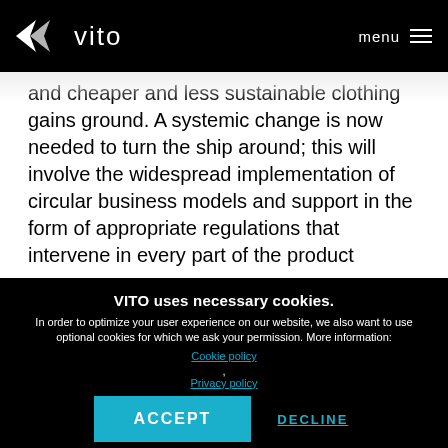VITO  menu
and cheaper and less sustainable clothing gains ground. A systemic change is now needed to turn the ship around; this will involve the widespread implementation of circular business models and support in the form of appropriate regulations that intervene in every part of the product
VITO uses necessary cookies.
In order to optimize your user experience on our website, we also want to use optional cookies for which we ask your permission. More information:
Cookie policy
,
Privacy policy
ACCEPT   DECLINE